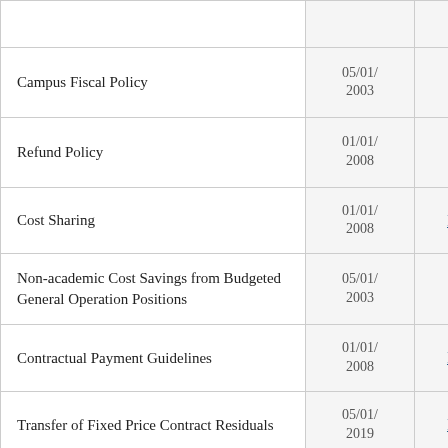| Policy Name | Date | Reference |
| --- | --- | --- |
| Campus Fiscal Policy | 05/01/2003 | Deleted |
| Refund Policy | 01/01/2008 | Deleted |
| Cost Sharing | 01/01/2008 | III-20 |
| Non-academic Cost Savings from Budgeted General Operation Positions | 05/01/2003 | Deleted |
| Contractual Payment Guidelines | 01/01/2008 | III-22 |
| Transfer of Fixed Price Contract Residuals | 05/01/2019 | III-25 |
| International Agreements (Currently under revision due to restructuring; in | 08/23/ | Dele... |